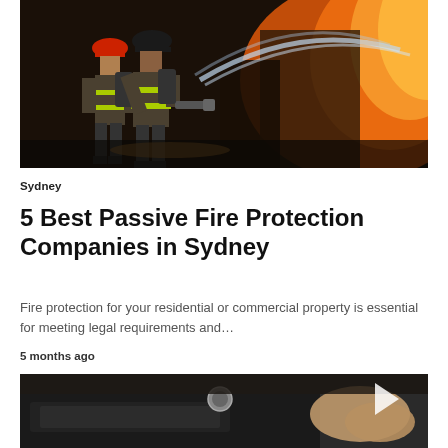[Figure (photo): Two firefighters in full gear spraying water at a large fire with bright orange flames]
Sydney
5 Best Passive Fire Protection Companies in Sydney
Fire protection for your residential or commercial property is essential for meeting legal requirements and…
5 months ago
[Figure (photo): Close-up of dark tools/equipment on a surface, partially visible, with a play button overlay]